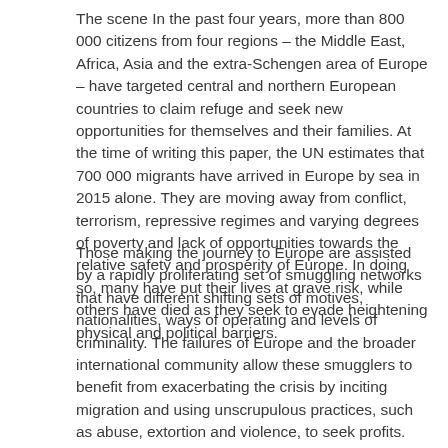The scene In the past four years, more than 800 000 citizens from four regions – the Middle East, Africa, Asia and the extra-Schengen area of Europe – have targeted central and northern European countries to claim refuge and seek new opportunities for themselves and their families. At the time of writing this paper, the UN estimates that 700 000 migrants have arrived in Europe by sea in 2015 alone. They are moving away from conflict, terrorism, repressive regimes and varying degrees of poverty and lack of opportunities towards the relative safety and prosperity of Europe. In doing so, many have put their lives at grave risk, while others have died as they seek to evade heightening physical and political barriers.
Those making the journey to Europe are assisted by a rapidly proliferating set of smuggling networks that have different shifting sets of motives, nationalities, ways of operating and levels of criminality. The failures of Europe and the broader international community allow these smugglers to benefit from exacerbating the crisis by inciting migration and using unscrupulous practices, such as abuse, extortion and violence, to seek profits. Despite deploying task forces, fusion cells and warships, law enforcement agencies have failed to keep up with the chaotic and rapid